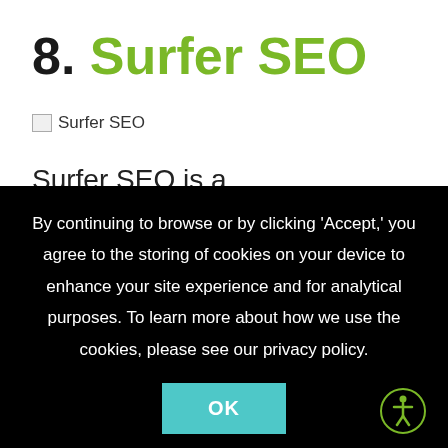8. Surfer SEO
[Figure (other): Broken image placeholder labeled 'Surfer SEO']
Surfer SEO is a comprehensive approach to marketing content preparation. The website has two extremely useful tools available for
By continuing to browse or by clicking 'Accept,' you agree to the storing of cookies on your device to enhance your site experience and for analytical purposes. To learn more about how we use the cookies, please see our privacy policy.